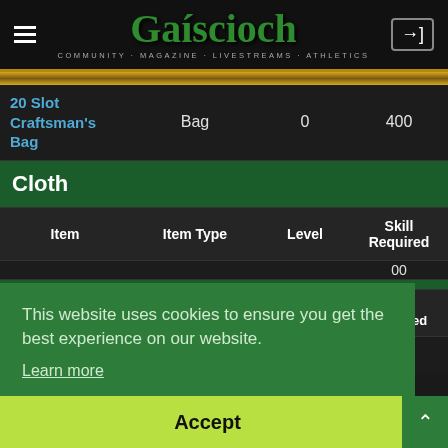Gaíscioch — Community Magazine Livestreams Athletics
| Item | Item Type | Level | Skill Required |
| --- | --- | --- | --- |
| 20 Slot Craftsman's Bag | Bag | 0 | 400 |
Cloth
| Item | Item Type | Level | Skill Required |
| --- | --- | --- | --- |
| (partially hidden) | (hidden) | (hidden) | 00 |
| Jute Tunic |  |  |  |
This website uses cookies to ensure you get the best experience on our website.
Learn more
Accept